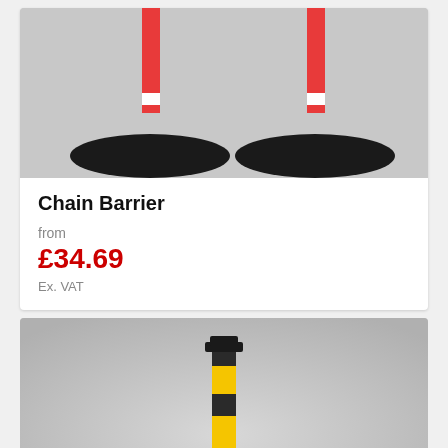[Figure (photo): Two red and white traffic chain barrier posts with black rubber bases on a grey background]
Chain Barrier
from
£34.69
Ex. VAT
[Figure (photo): A single black and yellow striped bollard/post on a grey background with a Chat now button overlay]
Chat now